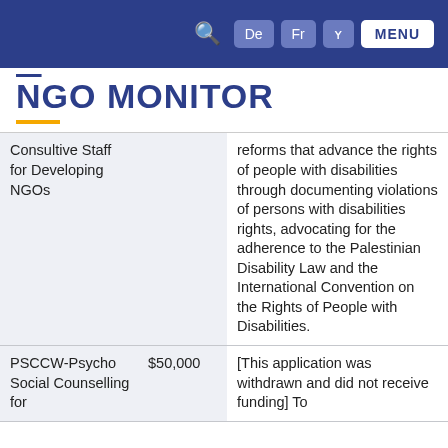NGO Monitor — Navigation bar with search icon, De, Fr, y language buttons and MENU
NGO MONITOR
| Organization | Amount | Description |
| --- | --- | --- |
| Consultive Staff for Developing NGOs |  | reforms that advance the rights of people with disabilities through documenting violations of persons with disabilities rights, advocating for the adherence to the Palestinian Disability Law and the International Convention on the Rights of People with Disabilities. |
| PSCCW-Psycho Social Counselling for | $50,000 | [This application was withdrawn and did not receive funding] To |